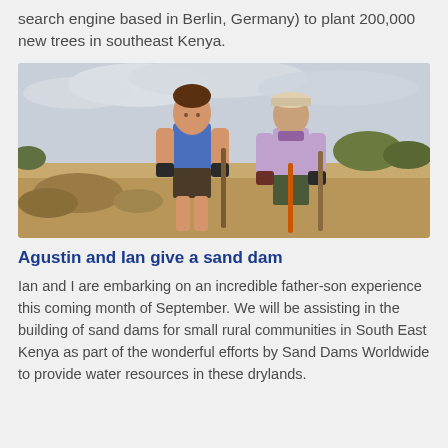search engine based in Berlin, Germany) to plant 200,000 new trees in southeast Kenya.
[Figure (photo): Two people, a woman in a blue t-shirt and dark shorts and a person in a light purple long-sleeve shirt and cap, standing outdoors in a sandy, arid landscape holding tools, likely shovels or digging implements. Cloudy sky and sparse vegetation in background.]
Agustin and Ian give a sand dam
Ian and I are embarking on an incredible father-son experience this coming month of September. We will be assisting in the building of sand dams for small rural communities in South East Kenya as part of the wonderful efforts by Sand Dams Worldwide to provide water resources in these drylands.